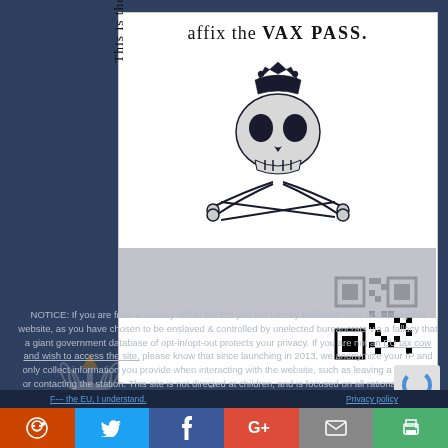[Figure (illustration): White card/flyer with skull wearing crown and crossed scissors below, with rotated text 'This is the Place to' on left side and title 'affix the VAX PASS.' at top. A QR code appears at bottom right of the card.]
NOTICE: If you are from a country within the EU you are hereby forbidden from accessing this website, as you have chosen to be enslaved & controlled by unelected bureaucrats via a fallacy that a giant government database of opt-in/opt-out protects your privacy. If you are not an EU tax cow and wish to access the site, please know that since launching in 2013, we anonymize your IP and only collect information you provide when interacting with the website, such as leaving a comment or contacting the station. This site is not directed at children, and is focused on all rational thinking individuals, who value reason and liberty. #JeffreyEpsteinDidntKillHimself
[Figure (logo): LibertyTalk.fm logo with torch/radio wave icon]
F--- the EU, I understand.
Privacy policy
[Figure (infographic): Social share buttons: Reddit, Twitter, Facebook, Google+, Email, Print]